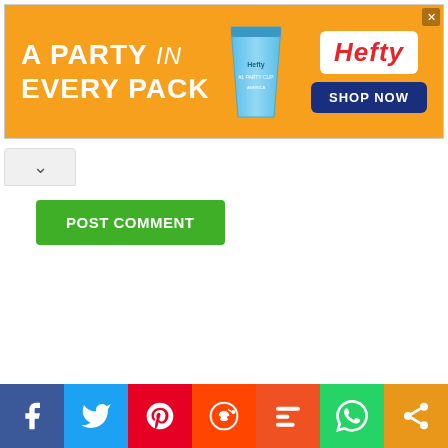[Figure (screenshot): Hefty brand advertisement banner with orange background. Text reads 'A PARTY in EVERY PACK'. Shows Hefty product cup and Hefty logo with 'SHOP NOW' button.]
[Figure (screenshot): UI element: collapse/chevron up arrow button]
[Figure (screenshot): Green 'POST COMMENT' button]
[Figure (screenshot): Social share bar at bottom with icons for Facebook, Twitter, Pinterest, Reddit, Mix, WhatsApp, and Share]